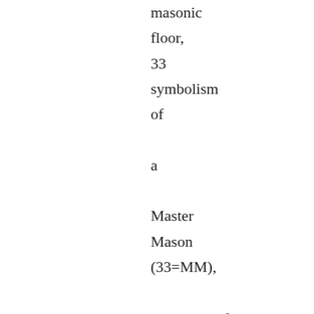masonic floor, 33 symbolism of a Master Mason (33=MM), programmed with Mickey Mouse, Marley Marl, Melle